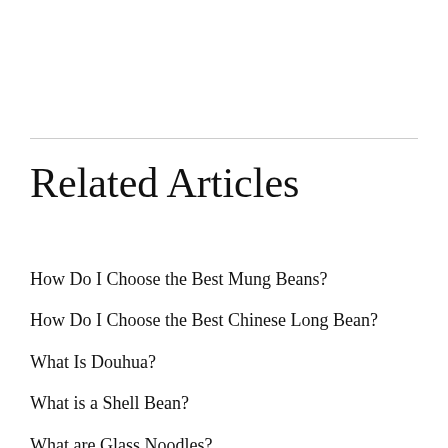Related Articles
How Do I Choose the Best Mung Beans?
How Do I Choose the Best Chinese Long Bean?
What Is Douhua?
What is a Shell Bean?
What are Glass Noodles?